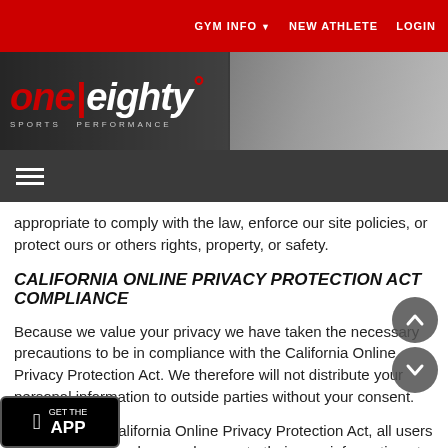GYM INFO  NEW ATHLETE  LOGIN
[Figure (logo): One Eighty Sports Performance logo on dark background with gray gym photo]
appropriate to comply with the law, enforce our site policies, or protect ours or others rights, property, or safety.
CALIFORNIA ONLINE PRIVACY PROTECTION ACT COMPLIANCE
Because we value your privacy we have taken the necessary precautions to be in compliance with the California Online Privacy Protection Act. We therefore will not distribute your personal information to outside parties without your consent.
As part of the California Online Privacy Protection Act, all users of our site may make any changes to their user information at any time by logging into the site and going to their Profile page.